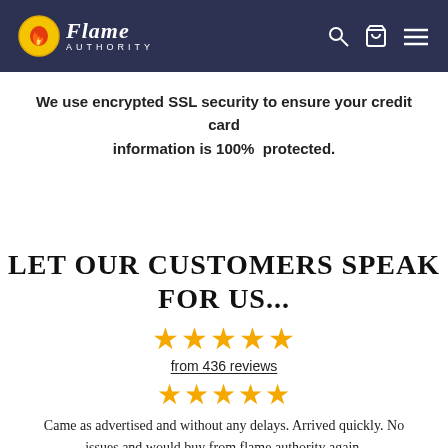Flame Authority
We use encrypted SSL security to ensure your credit card information is 100% protected.
LET OUR CUSTOMERS SPEAK FOR US...
from 436 reviews
Came as advertised and without any delays. Arrived quickly. No issues and would buy from flame authority again.